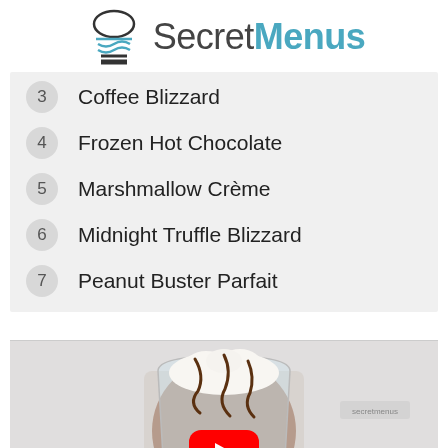SecretMenus
3 Coffee Blizzard
4 Frozen Hot Chocolate
5 Marshmallow Crème
6 Midnight Truffle Blizzard
7 Peanut Buster Parfait
[Figure (photo): A frozen chocolate drink in a clear cup with whipped cream and chocolate drizzle on top, with a YouTube play button overlay indicating a video thumbnail]